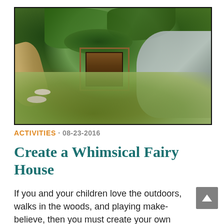[Figure (photo): A whimsical fairy house built at the base of mossy rocks and tree roots in a forest. Features a small wooden door frame, green leaves and moss covering the roof, stones on the ground, and a fallen log nearby.]
ACTIVITIES · 08-23-2016
Create a Whimsical Fairy House
If you and your children love the outdoors, walks in the woods, and playing make-believe, then you must create your own